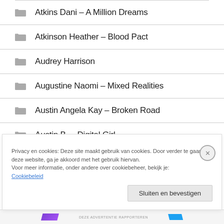Atkins Dani – A Million Dreams
Atkinson Heather – Blood Pact
Audrey Harrison
Augustine Naomi – Mixed Realities
Austin Angela Kay – Broken Road
Austin B. – Digital Girl
Privacy en cookies: Deze site maakt gebruik van cookies. Door verder te gaan op deze website, ga je akkoord met het gebruik hiervan. Voor meer informatie, onder andere over cookiebeheer, bekijk je: Cookiebeleid
DEZE ADVERTENTIE RAPPORTEREN